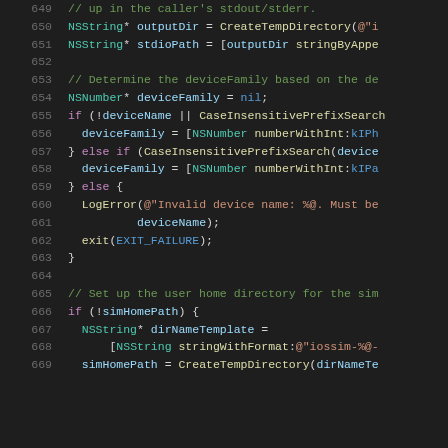Source code snippet, lines 649-669, Objective-C with syntax highlighting
649: // up in the caller's stdout/stderr.
650: NSString* outputDir = CreateTempDirectory(@"i...
651: NSString* stdioPath = [outputDir stringByAppe...
652: (blank)
653: // Determine the deviceFamily based on the de...
654: NSNumber* deviceFamily = nil;
655: if (!deviceName || CaseInsensitivePrefixSearch...
656:   deviceFamily = [NSNumber numberWithInt:kIPh...
657: } else if (CaseInsensitivePrefixSearch(device...
658:   deviceFamily = [NSNumber numberWithInt:kIPa...
659: } else {
660:   LogError(@"Invalid device name: %@. Must be...
661:         deviceName);
662:   exit(EXIT_FAILURE);
663: }
664: (blank)
665: // Set up the user home directory for the sim...
666: if (!simHomePath) {
667:   NSString* dirNameTemplate =
668:       [NSString stringWithFormat:@"iossim-%@-...
669:   simHomePath = CreateTempDirectory(dirNameTe...